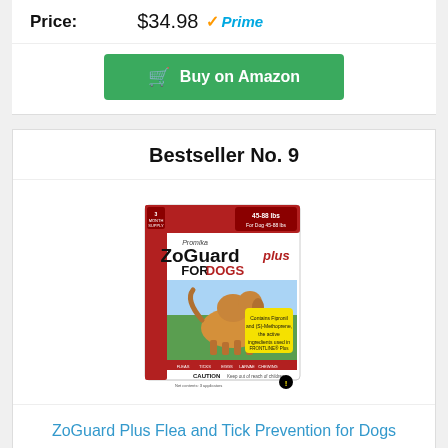Price: $34.98 Prime
Buy on Amazon
Bestseller No. 9
[Figure (photo): ZoGuard Plus for Dogs product box packaging (Large 45-88 lb), 3-month supply, red and white box with a golden retriever running on the front]
ZoGuard Plus Flea and Tick Prevention for Dogs (Large - 45-88 lb)
Price: